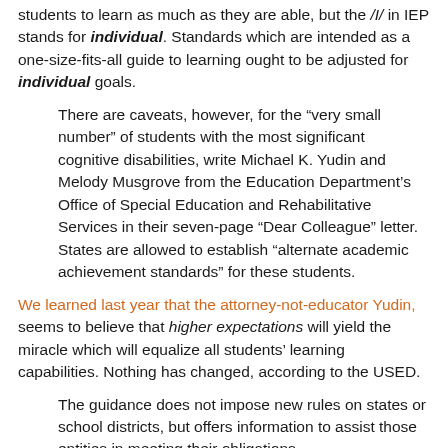students to learn as much as they are able, but the /I/ in IEP stands for individual. Standards which are intended as a one-size-fits-all guide to learning ought to be adjusted for individual goals.
There are caveats, however, for the “very small number” of students with the most significant cognitive disabilities, write Michael K. Yudin and Melody Musgrove from the Education Department’s Office of Special Education and Rehabilitative Services in their seven-page “Dear Colleague” letter. States are allowed to establish “alternate academic achievement standards” for these students.
We learned last year that the attorney-not-educator Yudin, seems to believe that higher expectations will yield the miracle which will equalize all students’ learning capabilities. Nothing has changed, according to the USED.
The guidance does not impose new rules on states or school districts, but offers information to assist those entities in meeting their obligations